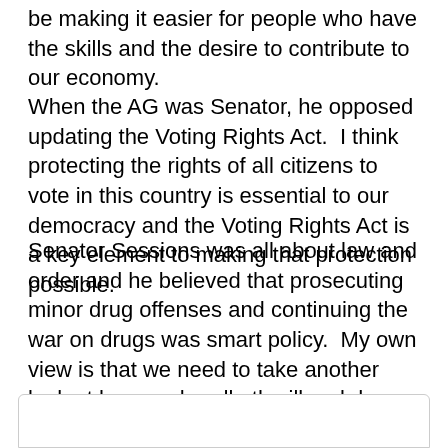be making it easier for people who have the skills and the desire to contribute to our economy.
When the AG was Senator, he opposed updating the Voting Rights Act.  I think protecting the rights of all citizens to vote in this country is essential to our democracy and the Voting Rights Act is a key element to making that protection possible.
Senator Sessions was all about law and order and he believed that prosecuting minor drug offenses and continuing the war on drugs was smart policy.  My own view is that we need to take another look at how we handle the illegal drug crisis in this country.  Locking everybody up is not a good long-term solution, from a moral standpoint and from a budgetary standpoint.